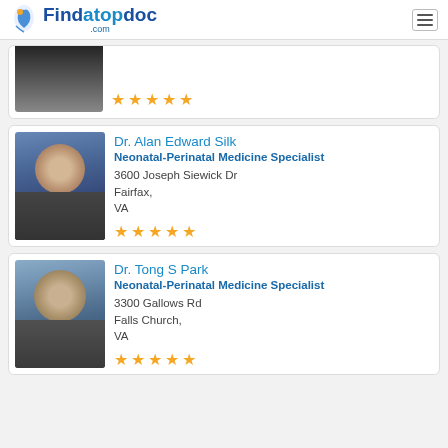Findatopdoc.com
[Figure (photo): Partially visible doctor photo with 5-star rating]
[Figure (photo): Photo of Dr. Alan Edward Silk]
Dr. Alan Edward Silk
Neonatal-Perinatal Medicine Specialist
3600 Joseph Siewick Dr
Fairfax,
VA
[Figure (photo): Photo of Dr. Tong S Park]
Dr. Tong S Park
Neonatal-Perinatal Medicine Specialist
3300 Gallows Rd
Falls Church,
VA